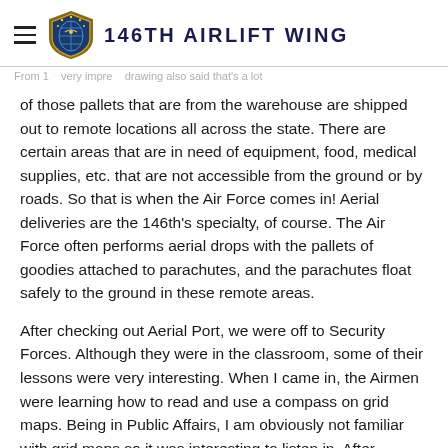146TH AIRLIFT WING
of those pallets that are from the warehouse are shipped out to remote locations all across the state. There are certain areas that are in need of equipment, food, medical supplies, etc. that are not accessible from the ground or by roads. So that is when the Air Force comes in! Aerial deliveries are the 146th's specialty, of course. The Air Force often performs aerial drops with the pallets of goodies attached to parachutes, and the parachutes float safely to the ground in these remote areas.
After checking out Aerial Port, we were off to Security Forces. Although they were in the classroom, some of their lessons were very interesting. When I came in, the Airmen were learning how to read and use a compass on grid maps. Being in Public Affairs, I am obviously not familiar with grid maps so it was interesting to listen in. After